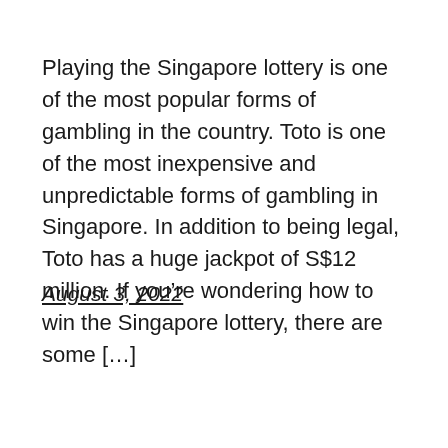Playing the Singapore lottery is one of the most popular forms of gambling in the country. Toto is one of the most inexpensive and unpredictable forms of gambling in Singapore. In addition to being legal, Toto has a huge jackpot of S$12 million. If you're wondering how to win the Singapore lottery, there are some […]
August 3, 2022